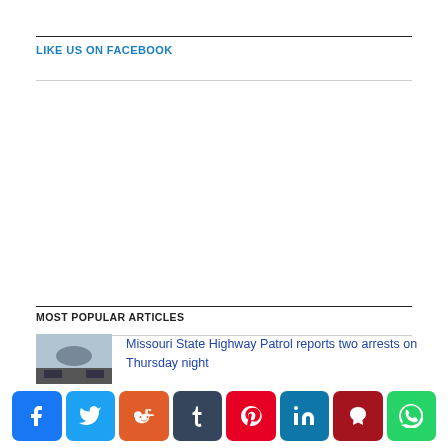LIKE US ON FACEBOOK
MOST POPULAR ARTICLES
Missouri State Highway Patrol reports two arrests on Thursday night
Chillicothe man dies in crash with Kenworth truck on Highway 36
Grand jury indicts Missouri woman on charges accusing her of committing $200,000 pandemic loan fraud